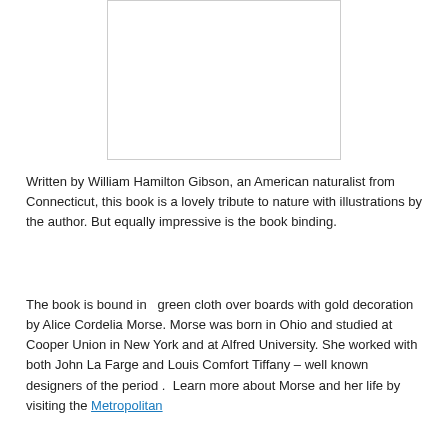[Figure (other): White rectangular image placeholder with a thin gray border, representing a book cover or illustration.]
Written by William Hamilton Gibson, an American naturalist from Connecticut, this book is a lovely tribute to nature with illustrations by the author. But equally impressive is the book binding.
The book is bound in  green cloth over boards with gold decoration by Alice Cordelia Morse. Morse was born in Ohio and studied at Cooper Union in New York and at Alfred University. She worked with both John La Farge and Louis Comfort Tiffany – well known designers of the period .  Learn more about Morse and her life by visiting the Metropolitan